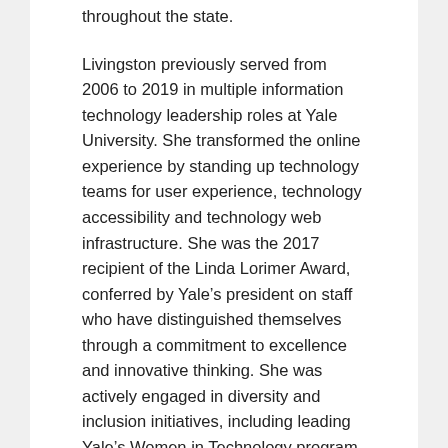throughout the state.
Livingston previously served from 2006 to 2019 in multiple information technology leadership roles at Yale University. She transformed the online experience by standing up technology teams for user experience, technology accessibility and technology web infrastructure. She was the 2017 recipient of the Linda Lorimer Award, conferred by Yale’s president on staff who have distinguished themselves through a commitment to excellence and innovative thinking. She was actively engaged in diversity and inclusion initiatives, including leading Yale’s Women in Technology program and the IT Climate, Culture and Inclusion Task Force.
Prior to working at Yale, Livingston held various positions at Vassar College and with IBM and Boeing. She is a past fellow at the EDUCAUSE Leadership Institute, Leading Change Institute and